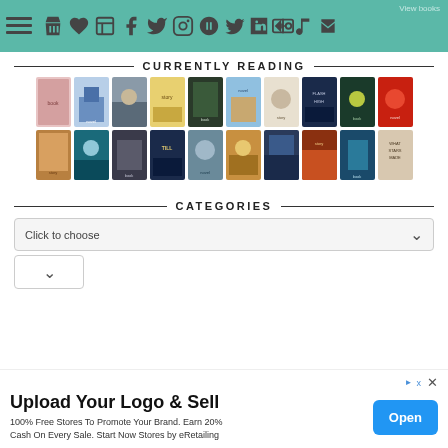[Figure (screenshot): Website navigation bar with teal background containing hamburger menu icon and social media icons (cart, heart, book, Facebook, Twitter, Instagram, Pinterest, Tumblr, YouTube, LinkedIn, RSS, email). 'View books' link at top right.]
CURRENTLY READING
[Figure (illustration): Grid of book cover thumbnails, first row of 10 books currently being read]
[Figure (illustration): Grid of book cover thumbnails, second row of 10 books currently being read]
CATEGORIES
[Figure (screenshot): Dropdown selector widget with 'Click to choose' placeholder text and chevron icon]
[Figure (screenshot): Small secondary dropdown with chevron]
[Figure (screenshot): Advertisement banner: 'Upload Your Logo & Sell' - 100% Free Stores To Promote Your Brand. Earn 20% Cash On Every Sale. Start Now Stores by eRetailing. Blue 'Open' button on right.]